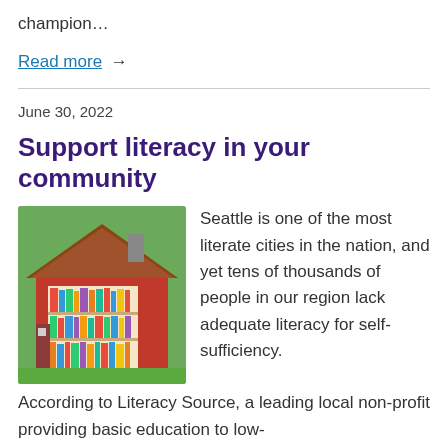champion…
Read more →
June 30, 2022
Support literacy in your community
[Figure (photo): A little free library — a small decorative wooden house filled with books, painted red and white with a triangular roof, outdoors surrounded by green plants.]
Seattle is one of the most literate cities in the nation, and yet tens of thousands of people in our region lack adequate literacy for self-sufficiency. According to Literacy Source, a leading local non-profit providing basic education to low-